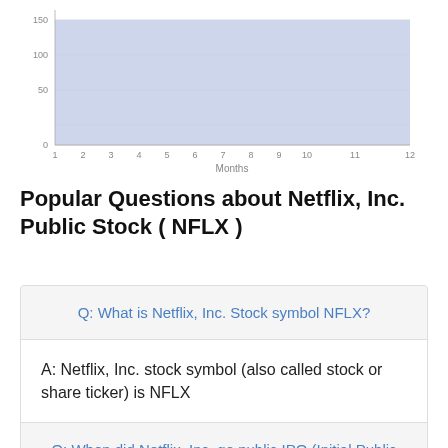[Figure (area-chart): ]
Popular Questions about Netflix, Inc. Public Stock ( NFLX )
Q: What is Netflix, Inc. Stock symbol NFLX?
A: Netflix, Inc. stock symbol (also called stock or share ticker) is NFLX
Q: When did Netflix, Inc. go public IPO (Initial Public Offering)?